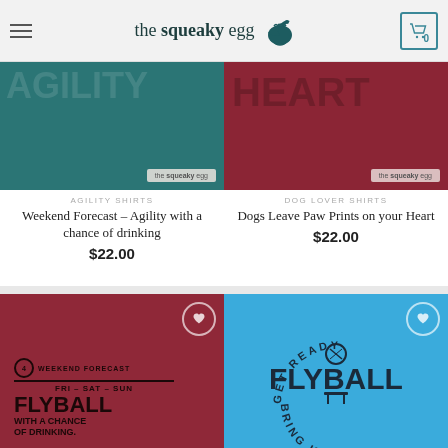[Figure (screenshot): The Squeaky Egg website header with hamburger menu, logo with duck/bird icon, and shopping cart showing 0]
[Figure (photo): Teal/green t-shirt with squeaky egg brand tag]
AGILITY SHIRTS
Weekend Forecast – Agility with a chance of drinking
$22.00
[Figure (photo): Dark red/maroon t-shirt with HEART text visible and squeaky egg brand tag]
DOG LOVER SHIRTS
Dogs Leave Paw Prints on your Heart
$22.00
[Figure (photo): Maroon t-shirt with flyball weekend forecast design: WEEKEND FORECAST FRI-SAT-SUN FLYBALL WITH A CHANCE OF DRINKING text]
[Figure (photo): Blue t-shirt with GET READY FLYBALL BRING IT circular design]